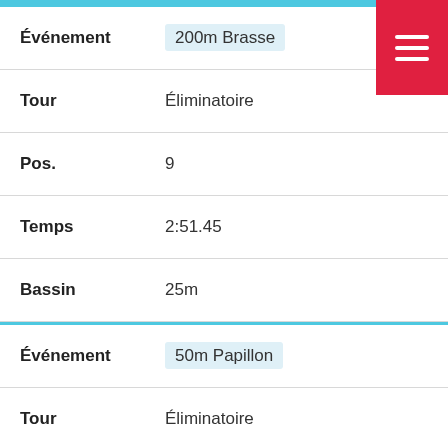| Field | Value |
| --- | --- |
| Événement | 200m Brasse |
| Tour | Éliminatoire |
| Pos. | 9 |
| Temps | 2:51.45 |
| Bassin | 25m |
| Événement | 50m Papillon |
| Tour | Éliminatoire |
| Pos. | 20 |
| Temps | 31.84 |